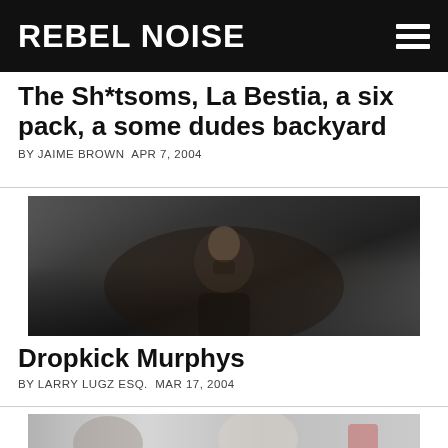REBEL NOISE
The Sh*tsoms, La Bestia, a six pack, a some dudes backyard
BY JAIME BROWN APR 7, 2004
[Figure (photo): Concert photo of a performer singing into a microphone with crowd in dark venue]
Dropkick Murphys
BY LARRY LUGZ ESQ. MAR 17, 2004
[Figure (photo): Partially visible concert/event photo at bottom of page]